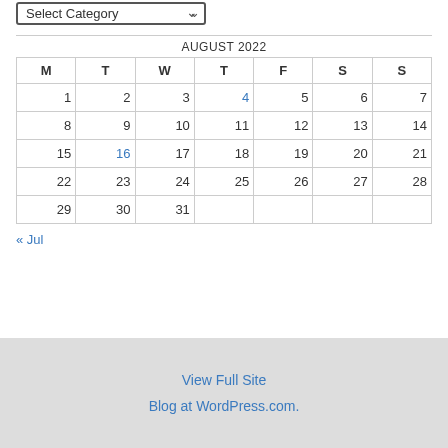| M | T | W | T | F | S | S |
| --- | --- | --- | --- | --- | --- | --- |
| 1 | 2 | 3 | 4 | 5 | 6 | 7 |
| 8 | 9 | 10 | 11 | 12 | 13 | 14 |
| 15 | 16 | 17 | 18 | 19 | 20 | 21 |
| 22 | 23 | 24 | 25 | 26 | 27 | 28 |
| 29 | 30 | 31 |  |  |  |  |
« Jul
View Full Site
Blog at WordPress.com.